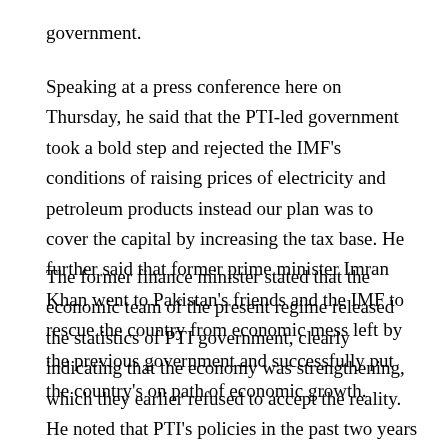government.
Speaking at a press conference here on Thursday, he said that the PTI-led government took a bold step and rejected the IMF's conditions of raising prices of electricity and petroleum products instead our plan was to cover the capital by increasing the tax base. He further said that former prime minister Imran Khan went to Pakistan's friends and the IMF to rescue the country from economic mess left by the previous government and successfully put the country's on path of economic growth.
The former finance minister stated that the economic team of the present regime released the statistics of PTI government, clearly indicating that the economy was strengthening, which they earlier refused to accept the reality. He noted that PTI's policies in the past two years enabled higher growth for two consecutive years and in the current year, the country posted 4.4 percent